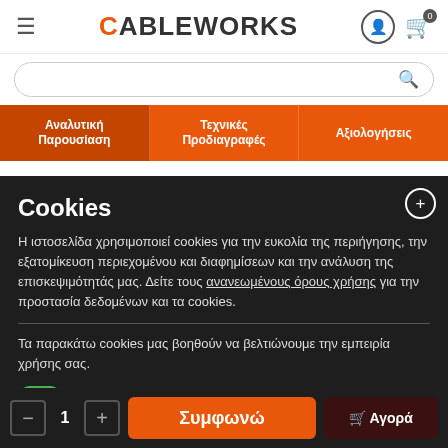CABLEWORKS
[Figure (screenshot): Search bar with rounded border and search icon]
[Figure (screenshot): Navigation tabs: Αναλυτική Παρουσίαση, Τεχνικές Προδιαγραφές, Αξιολογήσεις]
Cookies
Η ιστοσελίδα χρησιμοποιεί cookies για την ευκολία της περιήγησης, την εξατομίκευση περιεχομένου και διαφημίσεων και την ανάλυση της επισκεψιμότητάς μας. Δείτε τους ανανεωμένους όρους χρήσης για την προστασία δεδομένων και τα cookies.
Τα παρακάτω cookies μας βοηθούν να βελτιώνουμε την εμπειρία χρήσης σας.
CS-Cart cookies
Συμφωνώ
Αγορά